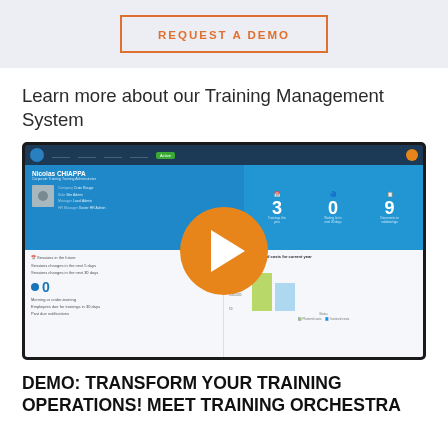[Figure (other): Orange outlined button with text REQUEST A DEMO on light gray banner background]
Learn more about our Training Management System
[Figure (screenshot): Screenshot of a Training Management System dashboard showing user profile, statistics (3, 0, 9), task lists, and a bar chart tracking projected costs. A large orange play button is overlaid in the center indicating this is a video thumbnail.]
DEMO: TRANSFORM YOUR TRAINING OPERATIONS! MEET TRAINING ORCHESTRA